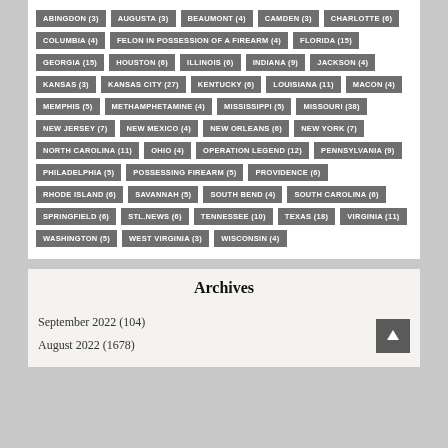ABINGDON (3)
AUGUSTA (3)
BEAUMONT (4)
CAMDEN (3)
CHARLOTTE (6)
COLUMBIA (4)
FELON IN POSSESSION OF A FIREARM (4)
FLORIDA (15)
GEORGIA (15)
HOUSTON (6)
ILLINOIS (6)
INDIANA (9)
JACKSON (4)
KANSAS (3)
KANSAS CITY (27)
KENTUCKY (6)
LOUISIANA (11)
MACON (4)
MEMPHIS (5)
METHAMPHETAMINE (4)
MISSISSIPPI (5)
MISSOURI (38)
NEW JERSEY (7)
NEW MEXICO (4)
NEW ORLEANS (6)
NEW YORK (7)
NORTH CAROLINA (11)
OHIO (4)
OPERATION LEGEND (12)
PENNSYLVANIA (9)
PHILADELPHIA (5)
POSSESSING FIREARM (5)
PROVIDENCE (6)
RHODE ISLAND (6)
SAVANNAH (5)
SOUTH BEND (4)
SOUTH CAROLINA (6)
SPRINGFIELD (6)
STL.NEWS (6)
TENNESSEE (10)
TEXAS (18)
VIRGINIA (11)
WASHINGTON (5)
WEST VIRGINIA (3)
WISCONSIN (4)
Archives
September 2022 (104)
August 2022 (1678)